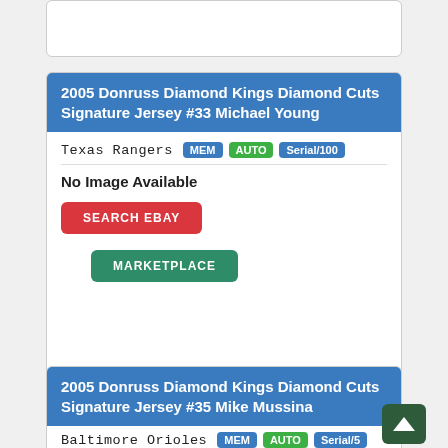2005 Donruss Diamond Kings Diamond Cuts Signature Jersey #33 Michael Young
Texas Rangers MEM AUTO Serial/100
No Image Available
SEARCH EBAY
MARKETPLACE
2005 Donruss Diamond Kings Diamond Cuts Signature Jersey #35 Mike Mussina
Baltimore Orioles MEM AUTO Serial/5